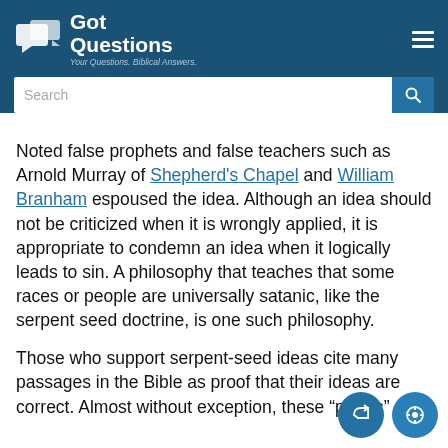GotQuestions — Your Questions. Biblical Answers.
Noted false prophets and false teachers such as Arnold Murray of Shepherd's Chapel and William Branham espoused the idea. Although an idea should not be criticized when it is wrongly applied, it is appropriate to condemn an idea when it logically leads to sin. A philosophy that teaches that some races or people are universally satanic, like the serpent seed doctrine, is one such philosophy.
Those who support serpent-seed ideas cite many passages in the Bible as proof that their ideas are correct. Almost without exception, these "proofs"